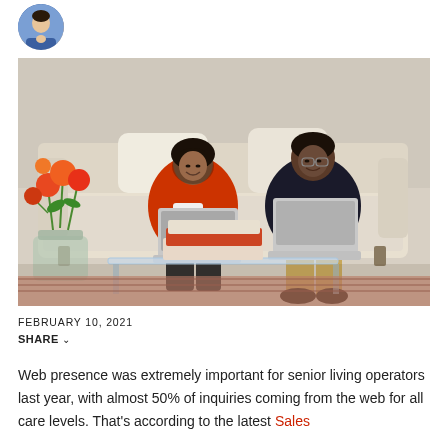[Figure (photo): Circular avatar/profile photo of a woman, positioned at top-left corner.]
[Figure (photo): Photo of a couple (man and woman) sitting on a beige sofa, each using a laptop computer. There is a glass coffee table with stacked books in front, and orange flowers in a vase to the left.]
FEBRUARY 10, 2021
SHARE ▾
Web presence was extremely important for senior living operators last year, with almost 50% of inquiries coming from the web for all care levels. That's according to the latest Sales